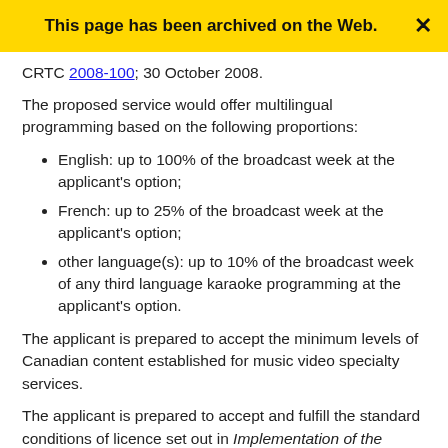This page has been archived on the Web.
CRTC 2008-100; 30 October 2008.
The proposed service would offer multilingual programming based on the following proportions:
English: up to 100% of the broadcast week at the applicant's option;
French: up to 25% of the broadcast week at the applicant's option;
other language(s): up to 10% of the broadcast week of any third language karaoke programming at the applicant's option.
The applicant is prepared to accept the minimum levels of Canadian content established for music video specialty services.
The applicant is prepared to accept and fulfill the standard conditions of licence set out in Implementation of the Accessibility Policy with respect to new Category 2 pay